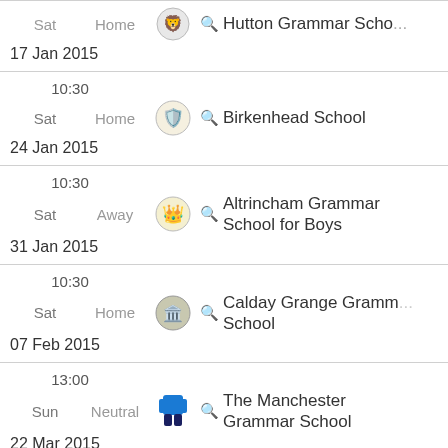Sat Home Hutton Grammar School 17 Jan 2015
10:30 Sat Home Birkenhead School 24 Jan 2015
10:30 Sat Away Altrincham Grammar School for Boys 31 Jan 2015
10:30 Sat Home Calday Grange Grammar School 07 Feb 2015
13:00 Sun Neutral The Manchester Grammar School 22 Mar 2015